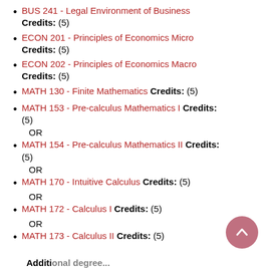BUS 241 - Legal Environment of Business Credits: (5)
ECON 201 - Principles of Economics Micro Credits: (5)
ECON 202 - Principles of Economics Macro Credits: (5)
MATH 130 - Finite Mathematics Credits: (5)
MATH 153 - Pre-calculus Mathematics I Credits: (5)
MATH 154 - Pre-calculus Mathematics II Credits: (5)
MATH 170 - Intuitive Calculus Credits: (5)
MATH 172 - Calculus I Credits: (5)
MATH 173 - Calculus II Credits: (5)